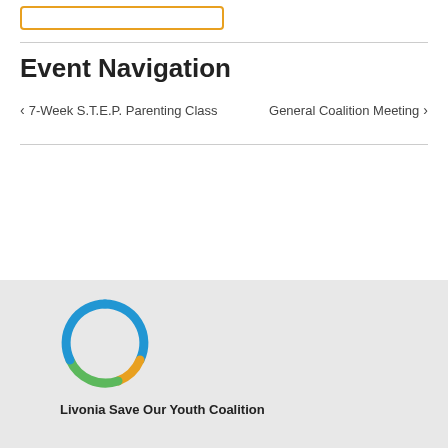Event Navigation
< 7-Week S.T.E.P. Parenting Class
General Coalition Meeting >
[Figure (logo): Circular logo with blue, orange, and green arc segments forming a ring — Livonia Save Our Youth Coalition logo]
Livonia Save Our Youth Coalition